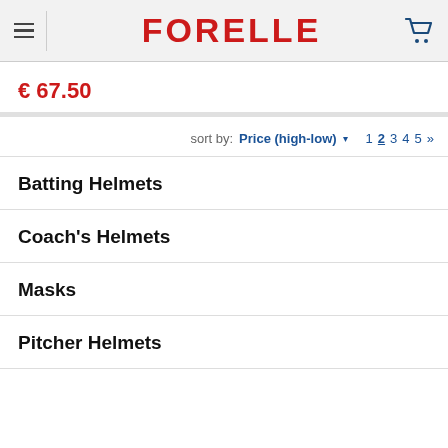FORELLE
€ 67.50
sort by: Price (high-low) ▾  1 2 3 4 5 »
Batting Helmets
Coach's Helmets
Masks
Pitcher Helmets